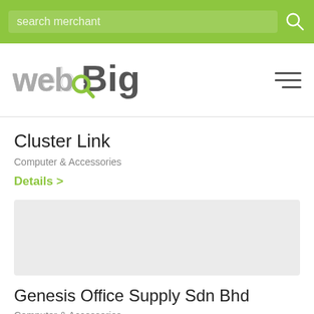search merchant
[Figure (logo): webBig logo with dotted 'web' text and green magnifier icon]
Cluster Link
Computer & Accessories
Details >
[Figure (photo): Gray placeholder image for Genesis Office Supply Sdn Bhd merchant]
Genesis Office Supply Sdn Bhd
Computer & Accessories
Details >